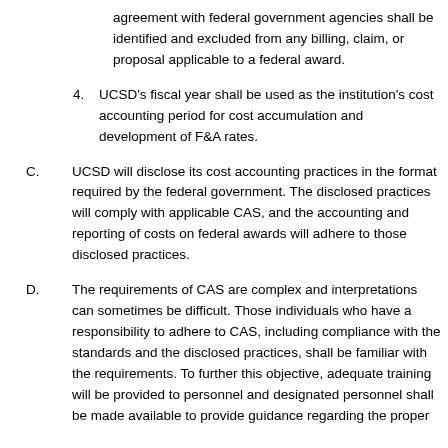agreement with federal government agencies shall be identified and excluded from any billing, claim, or proposal applicable to a federal award.
4. UCSD's fiscal year shall be used as the institution's cost accounting period for cost accumulation and development of F&A rates.
C. UCSD will disclose its cost accounting practices in the format required by the federal government. The disclosed practices will comply with applicable CAS, and the accounting and reporting of costs on federal awards will adhere to those disclosed practices.
D. The requirements of CAS are complex and interpretations can sometimes be difficult. Those individuals who have a responsibility to adhere to CAS, including compliance with the standards and the disclosed practices, shall be familiar with the requirements. To further this objective, adequate training will be provided to personnel and designated personnel shall be made available to provide guidance regarding the proper